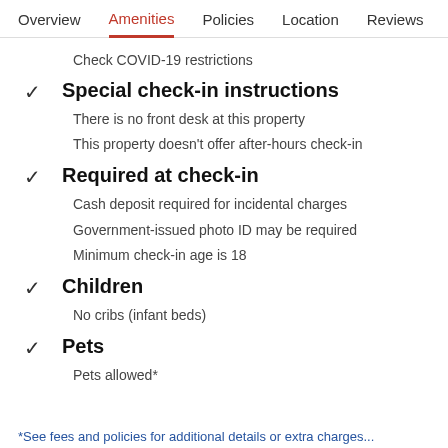Overview  Amenities  Policies  Location  Reviews
Check COVID-19 restrictions
Special check-in instructions
There is no front desk at this property
This property doesn't offer after-hours check-in
Required at check-in
Cash deposit required for incidental charges
Government-issued photo ID may be required
Minimum check-in age is 18
Children
No cribs (infant beds)
Pets
Pets allowed*
*See fees and policies for additional details or extra charges...